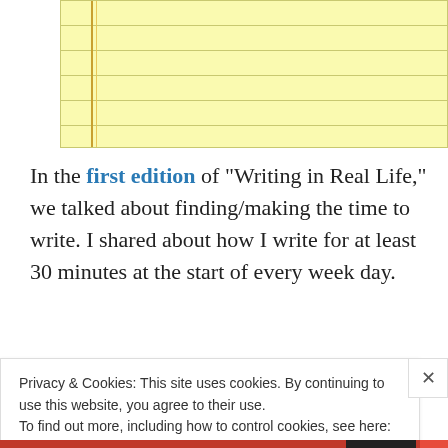[Figure (illustration): Yellow notepad paper with horizontal lines and a left margin line in orange/gold color]
In the first edition of “Writing in Real Life,” we talked about finding/making the time to write. I shared about how I write for at least 30 minutes at the start of every week day.
But sometimes having or even making the time to write
Privacy & Cookies: This site uses cookies. By continuing to use this website, you agree to their use.
To find out more, including how to control cookies, see here: Cookie Policy
Close and accept